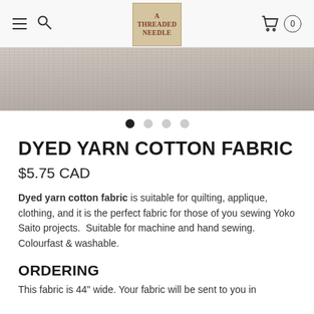A Threaded Needle — navigation header with hamburger menu, search, logo, and cart (0 items)
[Figure (photo): Cropped product image showing grey/beige dyed yarn cotton fabric texture]
DYED YARN COTTON FABRIC
$5.75 CAD
Dyed yarn cotton fabric is suitable for quilting, applique, clothing, and it is the perfect fabric for those of you sewing Yoko Saito projects.  Suitable for machine and hand sewing. Colourfast & washable.
ORDERING
This fabric is 44" wide. Your fabric will be sent to you in